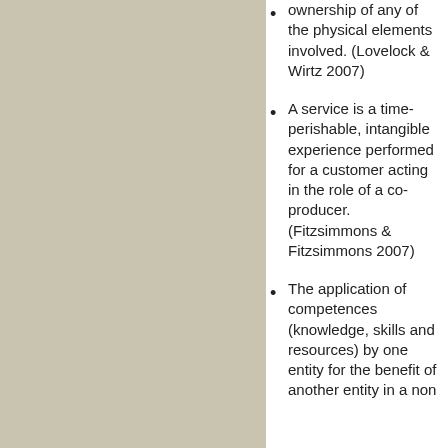ownership of any of the physical elements involved. (Lovelock & Wirtz 2007)
A service is a time-perishable, intangible experience performed for a customer acting in the role of a co-producer. (Fitzsimmons & Fitzsimmons 2007)
The application of competences (knowledge, skills and resources) by one entity for the benefit of another entity in a non…